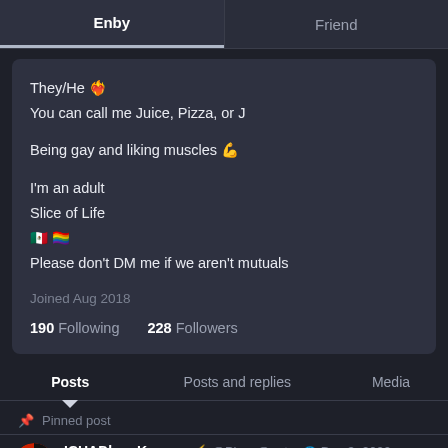Enby | Friend
They/He ❤️‍🔥
You can call me Juice, Pizza, or J

Being gay and liking muscles 💪

I'm an adult
Slice of Life
🇲🇽 🏳️‍🌈
Please don't DM me if we aren't mutuals
Joined Aug 2018
190 Following   228 Followers
Posts | Posts and replies | Media
📌 Pinned post
ICHADban Kasuga 🌟 @Pizza@nat... 🌐 Dec 3, 2020